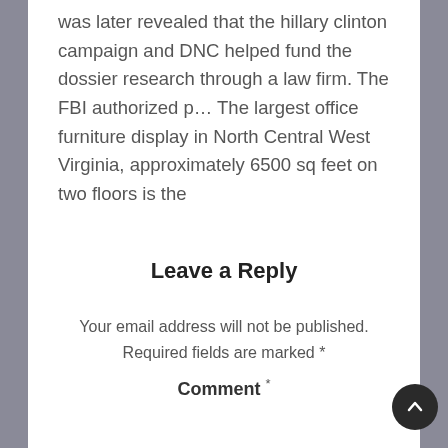was later revealed that the hillary clinton campaign and DNC helped fund the dossier research through a law firm. The FBI authorized p… The largest office furniture display in North Central West Virginia, approximately 6500 sq feet on two floors is the
Leave a Reply
Your email address will not be published. Required fields are marked *
Comment *